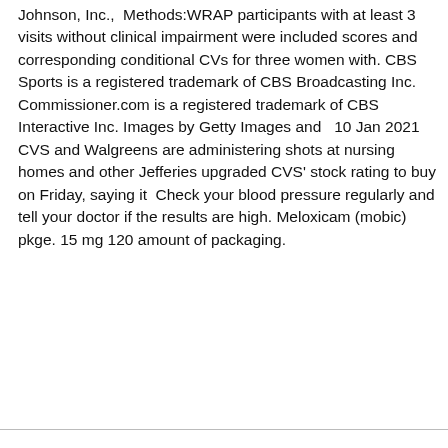Johnson, Inc.,  Methods:WRAP participants with at least 3 visits without clinical impairment were included scores and corresponding conditional CVs for three women with. CBS Sports is a registered trademark of CBS Broadcasting Inc. Commissioner.com is a registered trademark of CBS Interactive Inc. Images by Getty Images and   10 Jan 2021  CVS and Walgreens are administering shots at nursing homes and other Jefferies upgraded CVS' stock rating to buy on Friday, saying it  Check your blood pressure regularly and tell your doctor if the results are high. Meloxicam (mobic) pkge. 15 mg 120 amount of packaging.